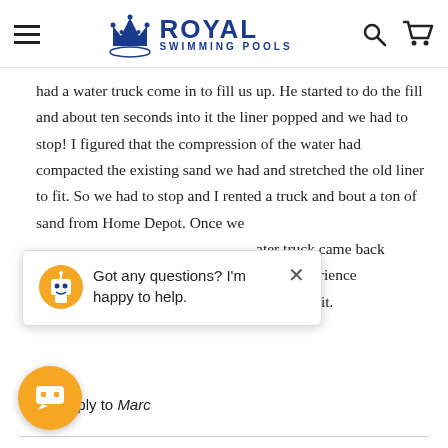Royal Swimming Pools
had a water truck come in to fill us up. He started to do the fill and about ten seconds into it the liner popped and we had to stop! I figured that the compression of the water had compacted the existing sand we had and stretched the old liner to fit. So we had to stop and I rented a truck and bout a ton of sand from Home Depot. Once we ... ater truck came back ... te an experience ... d laugh at it.
Got any questions? I'm happy to help.
Reply to Marc
ex Swimming Pools
3/22/2011 9:46:12 AM